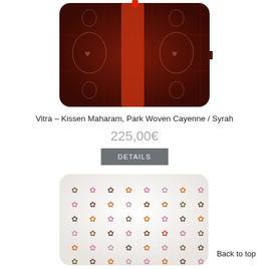[Figure (photo): Dark brown/maroon decorative pillow with red stripe and floral pattern (Vitra Kissen Maharam Park Woven Cayenne/Syrah)]
Vitra – Kissen Maharam, Park Woven Cayenne / Syrah
225,00€
DETAILS
[Figure (photo): White decorative pillow with multicolor four-petal flower/cross pattern in pink, orange, brown tones (second product)]
Back to top